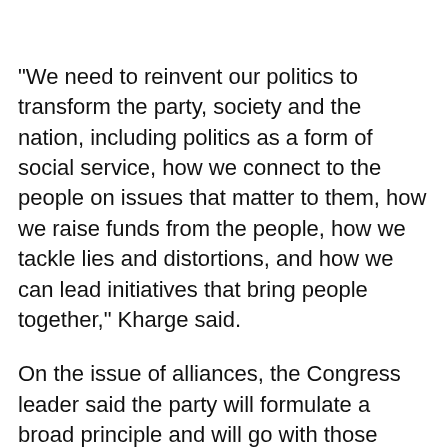"We need to reinvent our politics to transform the party, society and the nation, including politics as a form of social service, how we connect to the people on issues that matter to them, how we raise funds from the people, how we tackle lies and distortions, and how we can lead initiatives that bring people together," Kharge said.
On the issue of alliances, the Congress leader said the party will formulate a broad principle and will go with those accepting the principles.
"First we want to set right our own house. We want to make the Congress people more active and more